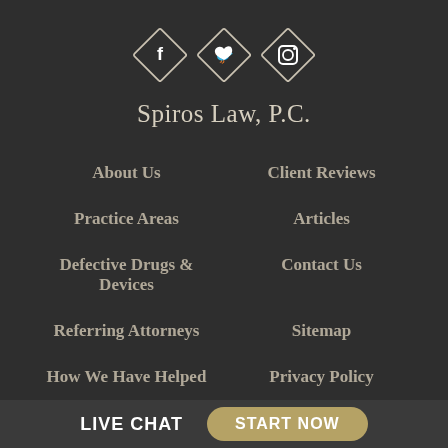[Figure (infographic): Three diamond-shaped social media icons for Facebook, Twitter, and Instagram, outlined in white on dark background]
Spiros Law, P.C.
About Us
Client Reviews
Practice Areas
Articles
Defective Drugs & Devices
Contact Us
Referring Attorneys
Sitemap
How We Have Helped
Privacy Policy
SERVICE AREA
LIVE CHAT  START NOW